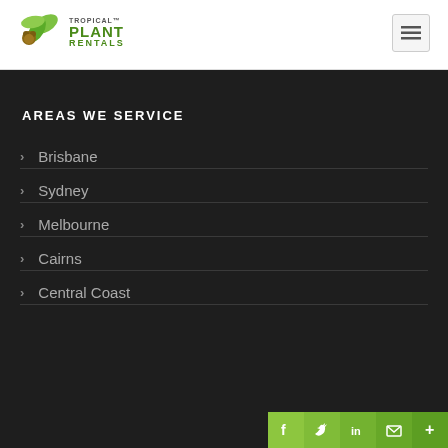[Figure (logo): Tropical Plant Rentals logo with green leaf icon and company name]
AREAS WE SERVICE
Brisbane
Sydney
Melbourne
Cairns
Central Coast